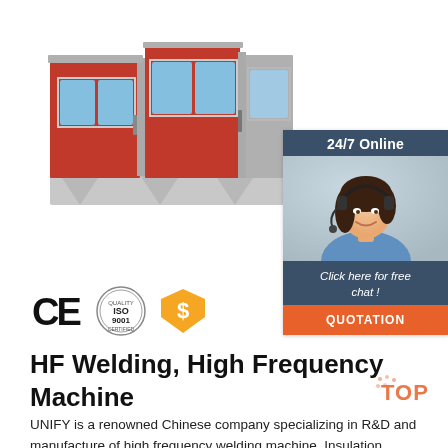[Figure (photo): Red industrial paint spray booth / welding machine enclosure product photo on white background]
[Figure (infographic): 24/7 Online chat widget with woman wearing headset, dark blue header, italic text 'Click here for free chat!', orange QUOTATION button]
[Figure (illustration): CE mark, ISO 9001 certification badge, and orange shield price tag icon]
HF Welding, High Frequency Machine
UNIFY is a renowned Chinese company specializing in R&D and manufacture of high frequency welding machine, Insulation Cardboard Drying Machines, and impulse heat welding machine. Custom service is our speciality. Advanced high frequency technology, PeRFect...